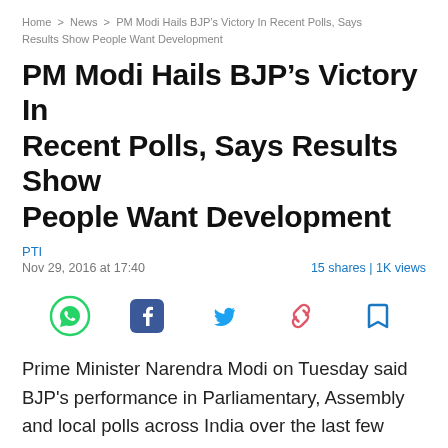Home > News > PM Modi Hails BJP’s Victory In Recent Polls, Says Results Show People Want Development
PM Modi Hails BJP’s Victory In Recent Polls, Says Results Show People Want Development
PTI
Nov 29, 2016 at 17:40 15 shares | 1K views
[Figure (infographic): Social sharing icons: WhatsApp (green), Facebook (dark blue), Twitter (blue), Link/chain (pink-red), Bookmark (blue outline)]
Prime Minister Narendra Modi on Tuesday said BJP's performance in Parliamentary, Assembly and local polls across India over the last few days illustrates that people want all-round progress and will not tolerate corruption and misgovernance